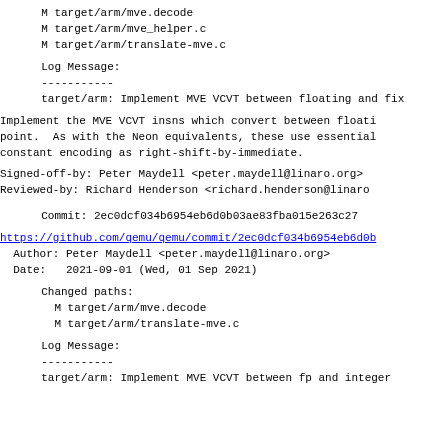M target/arm/mve.decode
M target/arm/mve_helper.c
M target/arm/translate-mve.c
Log Message:
-----------
target/arm: Implement MVE VCVT between floating and fix
Implement the MVE VCVT insns which convert between floati
point.  As with the Neon equivalents, these use essential
constant encoding as right-shift-by-immediate.
Signed-off-by: Peter Maydell <peter.maydell@linaro.org>
Reviewed-by: Richard Henderson <richard.henderson@linaro
Commit: 2ec0dcf034b6954eb6d0b03ae83fba015e263c27
https://github.com/qemu/qemu/commit/2ec0dcf034b6954eb6d0b
Author: Peter Maydell <peter.maydell@linaro.org>
Date:   2021-09-01 (Wed, 01 Sep 2021)
Changed paths:
M target/arm/mve.decode
M target/arm/translate-mve.c
Log Message:
-----------
target/arm: Implement MVE VCVT between fp and integer